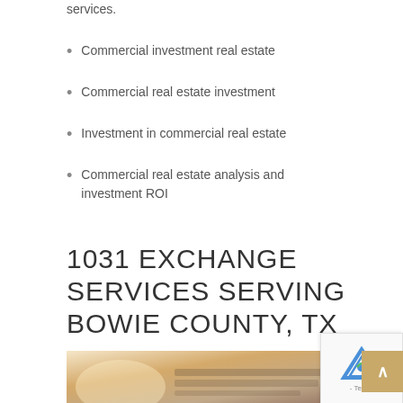services.
Commercial investment real estate
Commercial real estate investment
Investment in commercial real estate
Commercial real estate analysis and investment ROI
1031 EXCHANGE SERVICES SERVING BOWIE COUNTY, TX
[Figure (photo): Hands shaking or document signing photo related to real estate]